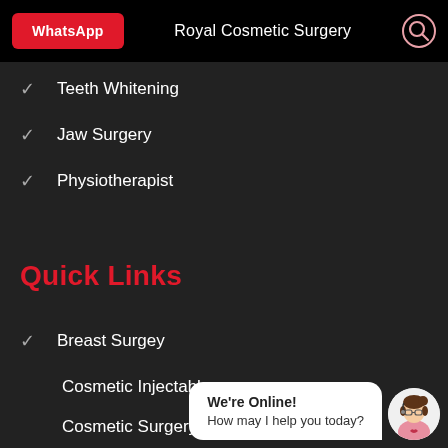WhatsApp | Royal Cosmetic Surgery
Teeth Whitening
Jaw Surgery
Physiotherapist
Quick Links
Breast Surgey
Cosmetic Injectable
Cosmetic Surgery
Hair Transplant
We're Online! How may I help you today?